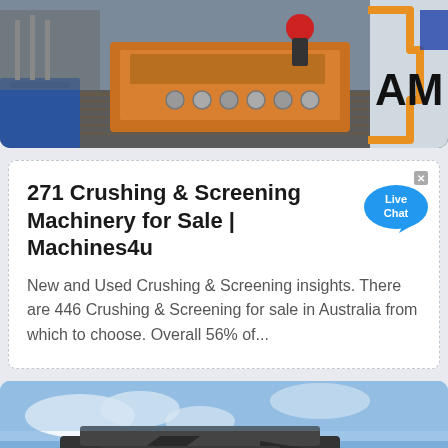[Figure (photo): Industrial machinery photograph showing heavy orange crushing equipment on a warehouse floor with a worker in red hard hat visible; 'AM' logo visible on right side signage]
271 Crushing & Screening Machinery for Sale | Machines4u
New and Used Crushing & Screening insights. There are 446 Crushing & Screening for sale in Australia from which to choose. Overall 56% of...
[Figure (photo): Crushing and screening machinery photographed against blue sky, showing large industrial screening/crushing equipment at a quarry or worksite; orange back-to-top button visible in bottom right]